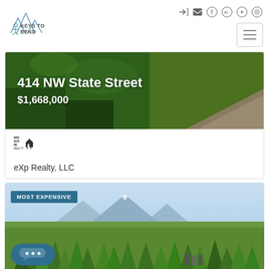[Figure (logo): Keys to Bend realty logo with mountain peaks icon and text KEYS TO BEND]
[Figure (screenshot): Social media icons: login, email, facebook, linkedin, youtube, instagram]
[Figure (photo): Property listing hero image showing green grass lawn with address overlay: 414 NW State Street, $1,668,000]
414 NW State Street
$1,668,000
[Figure (logo): eXp Realty broker logo - small house/building icon]
eXp Realty, LLC
[Figure (photo): Aerial landscape photo showing forested area with mountains in background, tagged MOST EXPENSIVE]
MOST EXPENSIVE